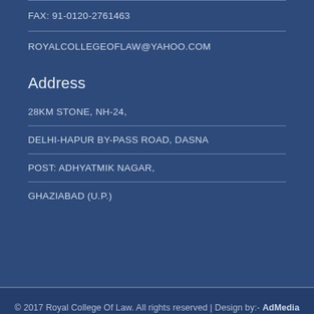FAX: 91-0120-2761463
ROYALCOLLEGEOFLAW@YAHOO.COM
Address
28KM STONE, NH-24,
DELHI-HAPUR BY-PASS ROAD, DASNA
POST: ADHYATMIK NAGAR,
GHAZIABAD (U.P.)
© 2017 Royal College Of Law. All rights reserved | Design by:- AdMedia Technologies
www.reliablecounter.com